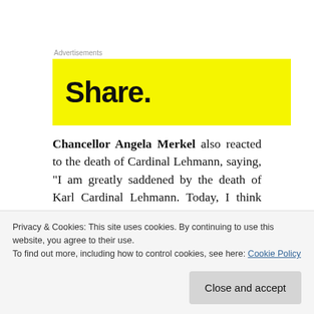Advertisements
[Figure (other): Yellow advertisement banner with bold text 'Share.']
Chancellor Angela Merkel also reacted to the death of Cardinal Lehmann, saying, “I am greatly saddened by the death of Karl Cardinal Lehmann. Today, I think with gratitude of our good conversations and meetings over the course of many years. He has
Privacy & Cookies: This site uses cookies. By continuing to use this website, you agree to their use.
To find out more, including how to control cookies, see here: Cookie Policy
Close and accept
controversy” It was clear to people who met him